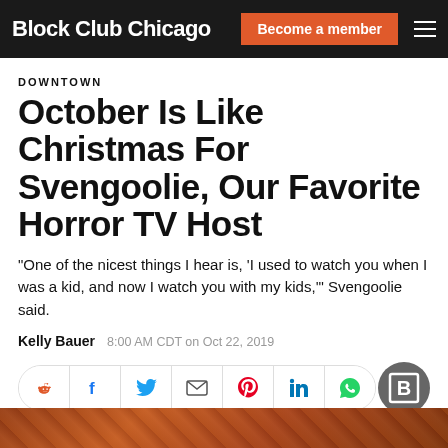Block Club Chicago | Become a member
DOWNTOWN
October Is Like Christmas For Svengoolie, Our Favorite Horror TV Host
"One of the nicest things I hear is, 'I used to watch you when I was a kid, and now I watch you with my kids,'" Svengoolie said.
Kelly Bauer   8:00 AM CDT on Oct 22, 2019
[Figure (other): Social sharing icon bar with Reddit, Facebook, Twitter, email, Pinterest, LinkedIn, WhatsApp icons, and Block Club Chicago badge]
[Figure (photo): Bottom partial image strip showing a colorful Halloween or horror-themed scene]